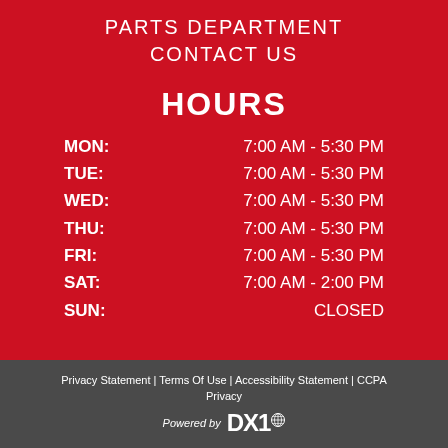PARTS DEPARTMENT
CONTACT US
HOURS
| Day | Hours |
| --- | --- |
| MON: | 7:00 AM - 5:30 PM |
| TUE: | 7:00 AM - 5:30 PM |
| WED: | 7:00 AM - 5:30 PM |
| THU: | 7:00 AM - 5:30 PM |
| FRI: | 7:00 AM - 5:30 PM |
| SAT: | 7:00 AM - 2:00 PM |
| SUN: | CLOSED |
Privacy Statement | Terms Of Use | Accessibility Statement | CCPA Privacy
Powered by DX1